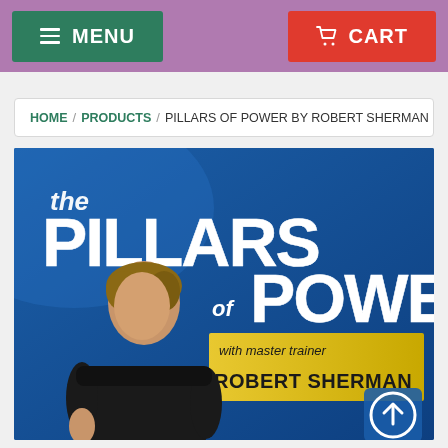MENU  CART
HOME / PRODUCTS / PILLARS OF POWER BY ROBERT SHERMAN
[Figure (photo): Product cover image for 'The Pillars of Power' featuring master trainer Robert Sherman. Blue background with large white bold text reading 'the PILLARS of POWER' and a yellow banner saying 'with master trainer ROBERT SHERMAN'. A man in a black sleeveless shirt is shown in the foreground.]